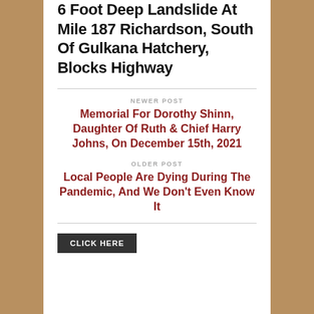6 Foot Deep Landslide At Mile 187 Richardson, South Of Gulkana Hatchery, Blocks Highway
NEWER POST
Memorial For Dorothy Shinn, Daughter Of Ruth & Chief Harry Johns, On December 15th, 2021
OLDER POST
Local People Are Dying During The Pandemic, And We Don't Even Know It
CLICK HERE